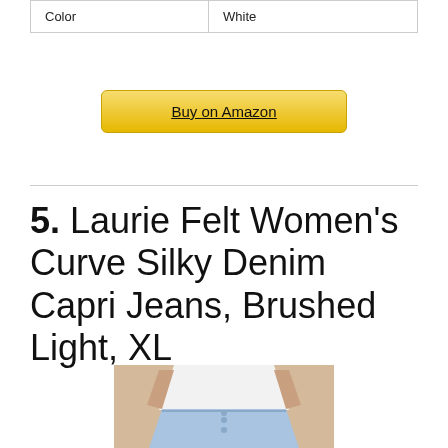| Color | White |
[Figure (other): Yellow 'Buy on Amazon' button with underlined text]
5. Laurie Felt Women's Curve Silky Denim Capri Jeans, Brushed Light, XL
[Figure (photo): Woman wearing white shirt and light blue denim capri jeans, cropped at torso level]